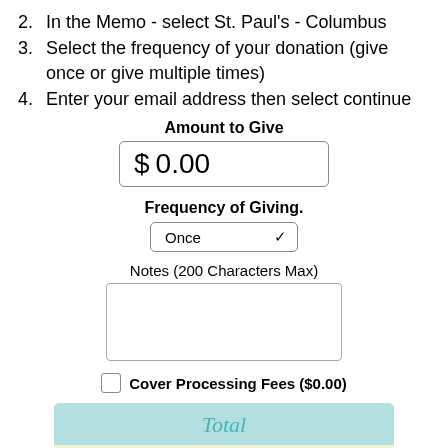2. In the Memo - select St. Paul's - Columbus
3. Select the frequency of your donation (give once or give multiple times)
4. Enter your email address then select continue
Amount to Give
$ 0.00
Frequency of Giving.
Once
Notes (200 Characters Max)
Cover Processing Fees ($0.00)
Total
$0.00